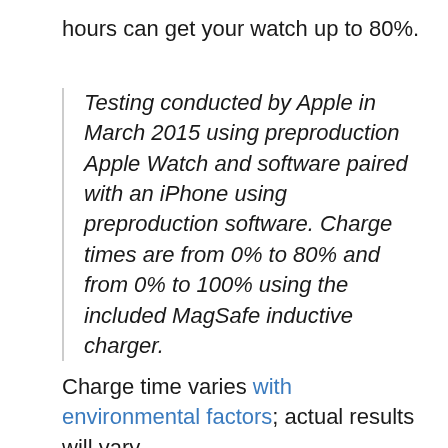hours can get your watch up to 80%.
Testing conducted by Apple in March 2015 using preproduction Apple Watch and software paired with an iPhone using preproduction software. Charge times are from 0% to 80% and from 0% to 100% using the included MagSafe inductive charger.
Charge time varies with environmental factors; actual results will vary.